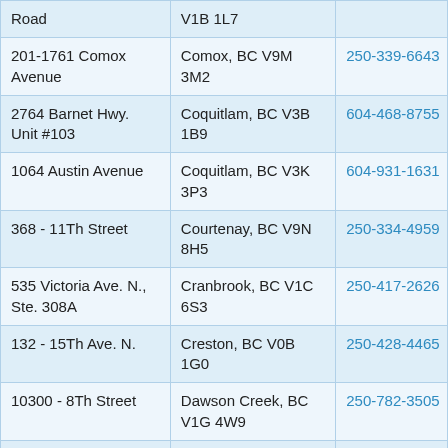| Road | V1B 1L7 |  |
| 201-1761 Comox Avenue | Comox, BC V9M 3M2 | 250-339-6643 |
| 2764 Barnet Hwy. Unit #103 | Coquitlam, BC V3B 1B9 | 604-468-8755 |
| 1064 Austin Avenue | Coquitlam, BC V3K 3P3 | 604-931-1631 |
| 368 - 11Th Street | Courtenay, BC V9N 8H5 | 250-334-4959 |
| 535 Victoria Ave. N., Ste. 308A | Cranbrook, BC V1C 6S3 | 250-417-2626 |
| 132 - 15Th Ave. N. | Creston, BC V0B 1G0 | 250-428-4465 |
| 10300 - 8Th Street | Dawson Creek, BC V1G 4W9 | 250-782-3505 |
| 101 - 5000 Bridge | Delta, BC V4K | 604-952-0770 |